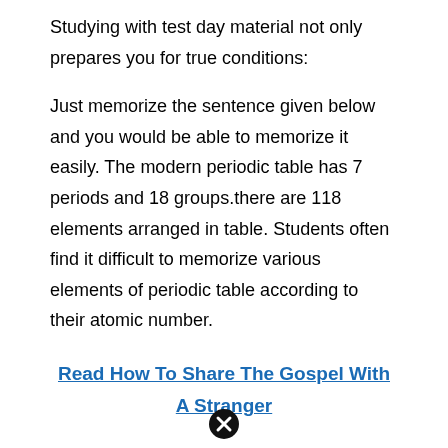Studying with test day material not only prepares you for true conditions:
Just memorize the sentence given below and you would be able to memorize it easily. The modern periodic table has 7 periods and 18 groups.there are 118 elements arranged in table. Students often find it difficult to memorize various elements of periodic table according to their atomic number.
Read  How To Share The Gospel With A Stranger
The periodic table is a way to organize the elements according to the recurring trends in their properties. Recall the entire periodic table in a few short hours. Tips and tricks to memorize the periodic table:
This is our periodic table how the periodic table organized the periodic table is organized like a matter of each element.